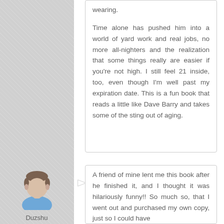wearing.

Time alone has pushed him into a world of yard work and real jobs, no more all-nighters and the realization that some things really are easier if you're not high. I still feel 21 inside, too, even though I'm well past my expiration date. This is a fun book that reads a little like Dave Barry and takes some of the sting out of aging.
[Figure (illustration): Generic male avatar icon with short dark hair wearing a blue shirt]
Duzshu
A friend of mine lent me this book after he finished it, and I thought it was hilariously funny!! So much so, that I went out and purchased my own copy, just so I could have